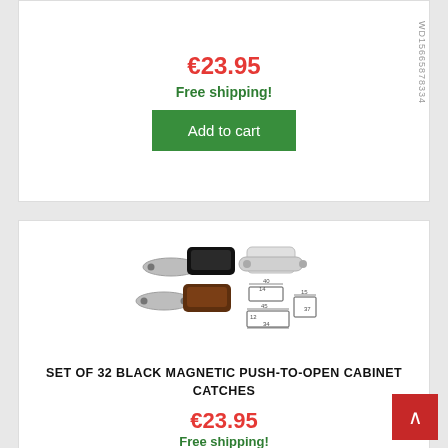€23.95
Free shipping!
Add to cart
[Figure (photo): Magnetic push-to-open cabinet catches in black, brown, and white/silver colors with technical dimension diagrams]
SET OF 32 BLACK MAGNETIC PUSH-TO-OPEN CABINET CATCHES
€23.95
Free shipping!